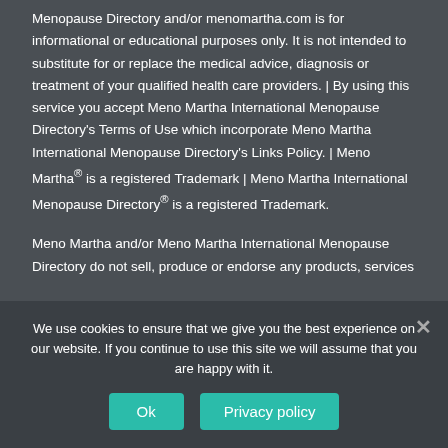Menopause Directory and/or menomartha.com is for informational or educational purposes only. It is not intended to substitute for or replace the medical advice, diagnosis or treatment of your qualified health care providers. | By using this service you accept Meno Martha International Menopause Directory's Terms of Use which incorporate Meno Martha International Menopause Directory's Links Policy. | Meno Martha® is a registered Trademark | Meno Martha International Menopause Directory® is a registered Trademark.
Meno Martha and/or Meno Martha International Menopause Directory do not sell, produce or endorse any products, services...
We use cookies to ensure that we give you the best experience on our website. If you continue to use this site we will assume that you are happy with it.